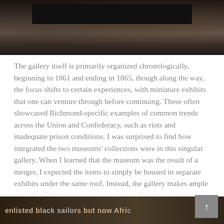[Figure (photo): Dark, dimly lit photograph of what appears to be a museum or exhibit interior with dark background and some objects visible]
The gallery itself is primarily organized chronologically, beginning in 1861 and ending in 1865, though along the way, the focus shifts to certain experiences, with miniature exhibits that one can venture through before continuing. These often showcased Richmond-specific examples of common trends across the Union and Confederacy, such as riots and inadequate prison conditions. I was surprised to find how integrated the two museums' collections were in this singular gallery. When I learned that the museum was the result of a merger, I expected the items to simply be housed in separate exhibits under the same roof. Instead, the gallery makes ample use of artifacts belonging to individuals from both the Union and Confederacy, and does so without relegating materials to different exhibits.
[Figure (photo): Partial view of a exhibit label or sign with text including 'enlisted black sailors but now Afri...' visible at the bottom of the page]